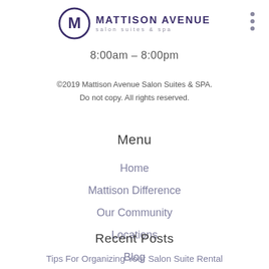[Figure (logo): Mattison Avenue Salon Suites & Spa logo with circular M emblem and text]
8:00am – 8:00pm
©2019 Mattison Avenue Salon Suites & SPA. Do not copy. All rights reserved.
Menu
Home
Mattison Difference
Our Community
Locations
Blog
Contact Us
Privacy Policy
Recent Posts
Tips For Organizing Your Salon Suite Rental